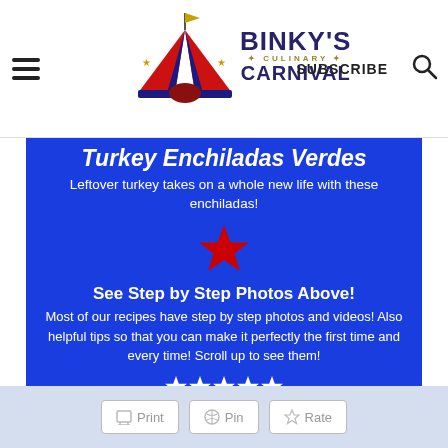BINKY'S CULINARY CARNIVAL — SUBSCRIBE
Turkey Enchiladas Verdes
Leftover turkey takes on a whole new life with these enchiladas!
[Figure (illustration): Red star icon]
See Step by Step Photos Above!
Most of our recipes have step by step photos and videos! Also helpful tips so that you can make it perfectly the first time and every time! Scroll up to see them!
[Figure (illustration): Five white star rating icons]
5 from 6 votes